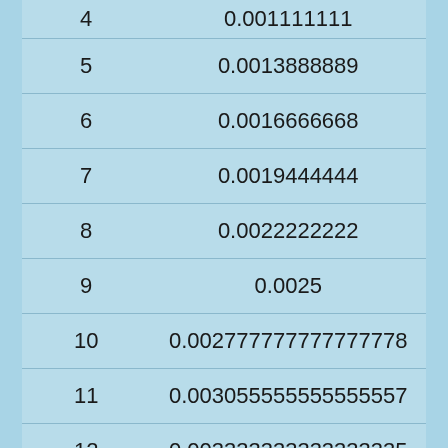| 4 | 0.001111111 |
| 5 | 0.0013888889 |
| 6 | 0.0016666668 |
| 7 | 0.0019444444 |
| 8 | 0.0022222222 |
| 9 | 0.0025 |
| 10 | 0.002777777777777778 |
| 11 | 0.003055555555555557 |
| 12 | 0.003333333333333335 |